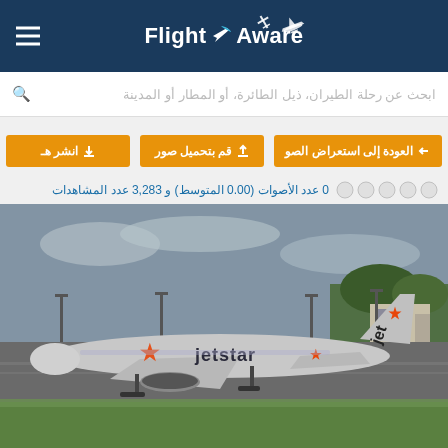FlightAware
ابحث عن رحلة الطيران، ذيل الطائرة، أو المطار أو المدينة
انشر هـ
قم بتحميل صور
العودة إلى استعراض الصو
0 عدد الأصوات (0.00 المتوسط) و 3,283 عدد المشاهدات
[Figure (photo): Jetstar Airways Airbus A320 aircraft taxiing on runway at airport, grey overcast sky, green grass in foreground, airport buildings and lamp posts in background]